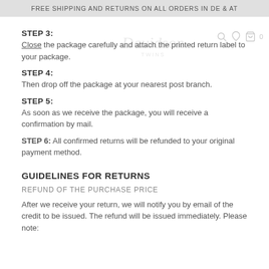FREE SHIPPING AND RETURNS ON ALL ORDERS IN DE & AT
STEP 3:
Close the package carefully and attach the printed return label to your package.
STEP 4:
Then drop off the package at your nearest post branch.
STEP 5:
As soon as we receive the package, you will receive a confirmation by mail.
STEP 6: All confirmed returns will be refunded to your original payment method.
GUIDELINES FOR RETURNS
REFUND OF THE PURCHASE PRICE
After we receive your return, we will notify you by email of the credit to be issued. The refund will be issued immediately. Please note: